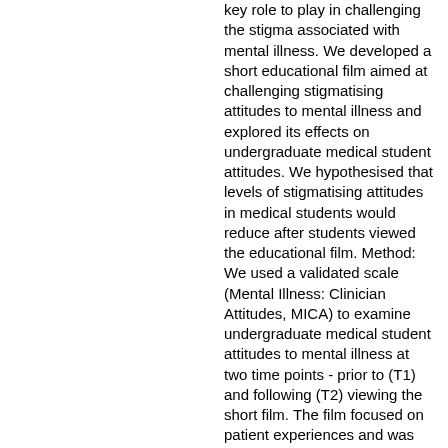key role to play in challenging the stigma associated with mental illness. We developed a short educational film aimed at challenging stigmatising attitudes to mental illness and explored its effects on undergraduate medical student attitudes. We hypothesised that levels of stigmatising attitudes in medical students would reduce after students viewed the educational film. Method: We used a validated scale (Mental Illness: Clinician Attitudes, MICA) to examine undergraduate medical student attitudes to mental illness at two time points - prior to (T1) and following (T2) viewing the short film. The film focused on patient experiences and was designed to highlight personal experiences of mental illness. Results: 92 students completed the